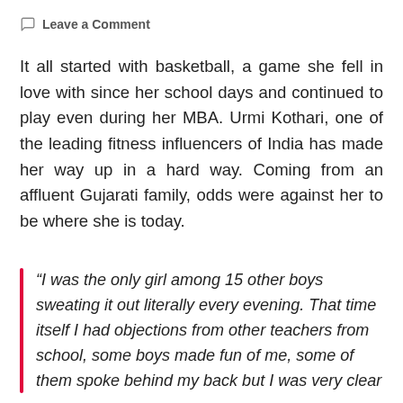Leave a Comment
It all started with basketball, a game she fell in love with since her school days and continued to play even during her MBA. Urmi Kothari, one of the leading fitness influencers of India has made her way up in a hard way. Coming from an affluent Gujarati family, odds were against her to be where she is today.
“I was the only girl among 15 other boys sweating it out literally every evening. That time itself I had objections from other teachers from school, some boys made fun of me, some of them spoke behind my back but I was very clear